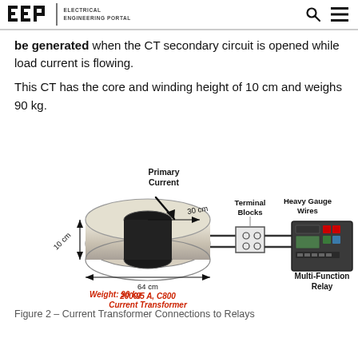EEP | ELECTRICAL ENGINEERING PORTAL
be generated when the CT secondary circuit is opened while load current is flowing.
This CT has the core and winding height of 10 cm and weighs 90 kg.
[Figure (engineering-diagram): Diagram of a 2000/5 A, C800 Current Transformer (toroidal shape, labeled 10 cm height, 30 cm and 64 cm dimensions, Weight: 90 kg) connected via heavy gauge wires through Terminal Blocks to a Multi-Function Relay. Primary Current arrow shown. Labels: Primary Current, Terminal Blocks, Heavy Gauge Wires, Multi-Function Relay, Weight: 90 kg (red), 2000/5 A, C800 Current Transformer (red).]
Figure 2 – Current Transformer Connections to Relays